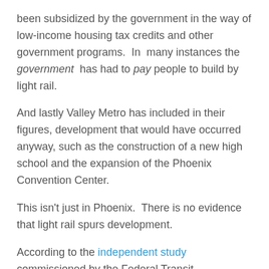been subsidized by the government in the way of low-income housing tax credits and other government programs.  In  many instances the government  has had to pay people to build by light rail.
And lastly Valley Metro has included in their figures, development that would have occurred anyway, such as the construction of a new high school and the expansion of the Phoenix Convention Center.
This isn't just in Phoenix.  There is no evidence that light rail spurs development.
According to the independent study commissioned by the Federal Transit Administration itself, light rail does not create growth, but at best redistributes it.  The strongest correlation in fact, is the cities that have spent the most in transit have had the slowest growth.  Though not spending money on transit is not a guaranteed